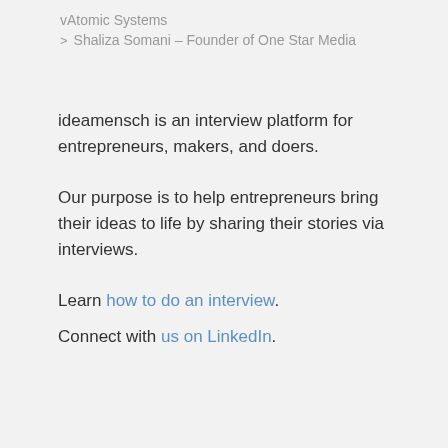vAtomic Systems
Shaliza Somani – Founder of One Star Media
ideamensch is an interview platform for entrepreneurs, makers, and doers.
Our purpose is to help entrepreneurs bring their ideas to life by sharing their stories via interviews.
Learn how to do an interview.
Connect with us on LinkedIn.